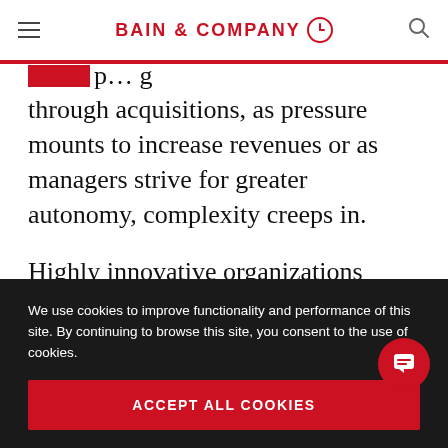BAIN & COMPANY
through acquisitions, as pressure mounts to increase revenues or as managers strive for greater autonomy, complexity creeps in.
Highly innovative organizations manage these pressures very differently. They focus their investment on doing fewer things better and on
We use cookies to improve functionality and performance of this site. By continuing to browse this site, you consent to the use of cookies.
ACCEPT ALL COOKIES